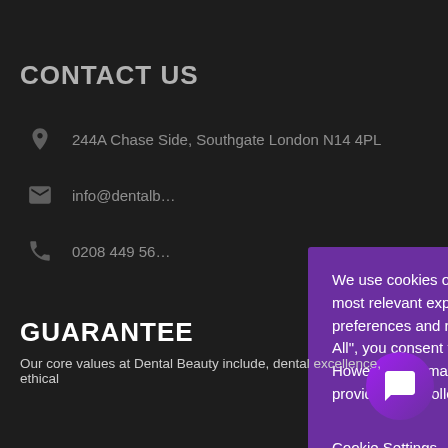CONTACT US
244A Chase Side, Southgate London N14 4PL
info@dentalb...
0208 449 56...
[Figure (screenshot): Cookie consent popup with purple background. Text: We use cookies on our website to give you the most relevant experience by remembering your preferences and repeat visits. By clicking "Accept All", you consent to the use of ALL the cookies. However, you may visit "Cookie Settings" to provide a controlled consent. Buttons: Cookie Settings and Accept All.]
GUARANTEE
Our core values at Dental Beauty include, dental excellence, ethical